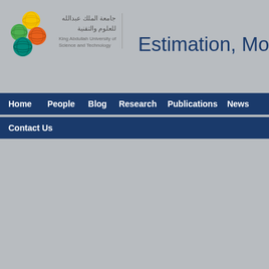[Figure (logo): KAUST logo with colorful circular shapes (yellow, green, orange, teal spheres)]
جامعة الملك عبدالله للعلوم والتقنية
King Abdullah University of Science and Technology
Estimation, Mo
Home  People  Blog  Research  Publications  News  Contact Us